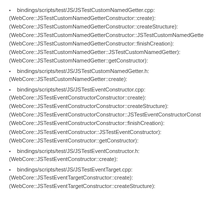bindings/scripts/test/JS/JSTestCustomNamedGetter.cpp:
(WebCore::JSTestCustomNamedGetterConstructor::create):
(WebCore::JSTestCustomNamedGetterConstructor::createStructure):
(WebCore::JSTestCustomNamedGetterConstructor::JSTestCustomNamedGette
(WebCore::JSTestCustomNamedGetterConstructor::finishCreation):
(WebCore::JSTestCustomNamedGetter::JSTestCustomNamedGetter):
(WebCore::JSTestCustomNamedGetter::getConstructor):
bindings/scripts/test/JS/JSTestCustomNamedGetter.h:
(WebCore::JSTestCustomNamedGetter::create):
bindings/scripts/test/JS/JSTestEventConstructor.cpp:
(WebCore::JSTestEventConstructorConstructor::create):
(WebCore::JSTestEventConstructorConstructor::createStructure):
(WebCore::JSTestEventConstructorConstructor::JSTestEventConstructorConst
(WebCore::JSTestEventConstructorConstructor::finishCreation):
(WebCore::JSTestEventConstructor::JSTestEventConstructor):
(WebCore::JSTestEventConstructor::getConstructor):
bindings/scripts/test/JS/JSTestEventConstructor.h:
(WebCore::JSTestEventConstructor::create):
bindings/scripts/test/JS/JSTestEventTarget.cpp:
(WebCore::JSTestEventTargetConstructor::create):
(WebCore::JSTestEventTargetConstructor::createStructure):